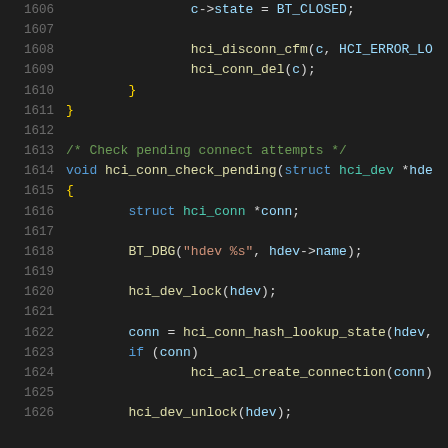Code listing lines 1606-1626, C source code for Bluetooth HCI connection handling
[Figure (screenshot): Source code snippet showing C code for hci_conn_check_pending function, lines 1606-1626, with syntax highlighting on dark background]